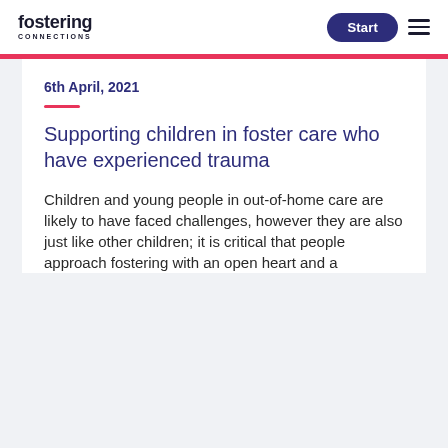fostering CONNECTIONS | Start
6th April, 2021
Supporting children in foster care who have experienced trauma
Children and young people in out-of-home care are likely to have faced challenges, however they are also just like other children; it is critical that people approach fostering with an open heart and a